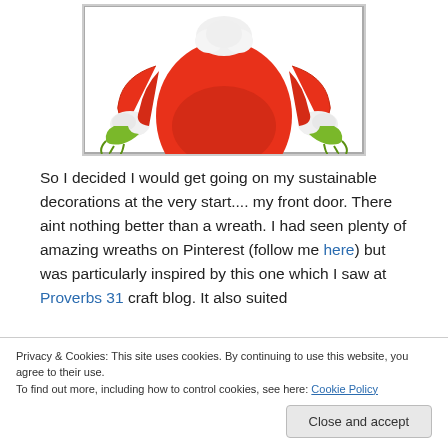[Figure (illustration): Cartoon illustration of the Grinch character in red suit with green hands on hips, torso and belly visible, white fluffy cuffs, against white background with black border.]
So I decided I would get going on my sustainable decorations at the very start.... my front door. There aint nothing better than a wreath. I had seen plenty of amazing wreaths on Pinterest (follow me here) but was particularly inspired by this one which I saw at Proverbs 31 craft blog. It also suited
Privacy & Cookies: This site uses cookies. By continuing to use this website, you agree to their use.
To find out more, including how to control cookies, see here: Cookie Policy
Close and accept